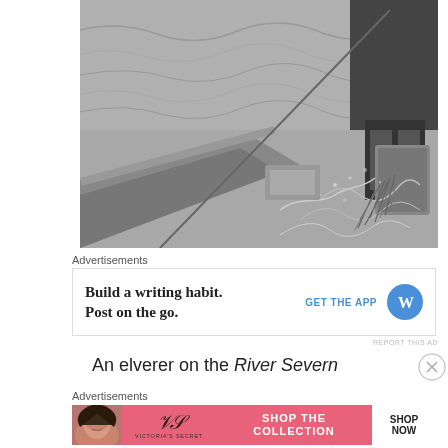[Figure (photo): Black and white photograph of an elverer working on the River Severn, showing a person handling nets or baskets near water with spray visible]
Advertisements
[Figure (other): Advertisement for WordPress app: 'Build a writing habit. Post on the go.' with GET THE APP button and WordPress logo]
REPORT THIS AD
An elverer on the River Severn
Advertisements
[Figure (other): Victoria's Secret advertisement: SHOP THE COLLECTION with SHOP NOW button, featuring model photo on pink background]